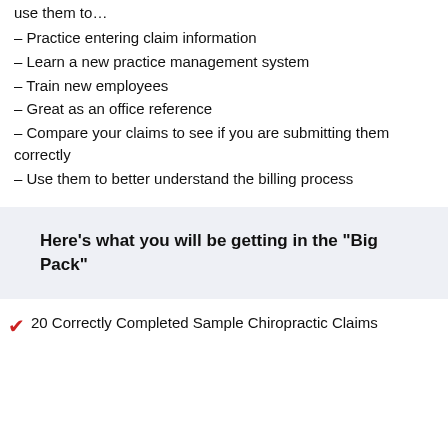use them to...
– Practice entering claim information
– Learn a new practice management system
– Train new employees
– Great as an office reference
– Compare your claims to see if you are submitting them correctly
– Use them to better understand the billing process
Here’s what you will be getting in the “Big Pack”
✓ 20 Correctly Completed Sample Chiropractic Claims